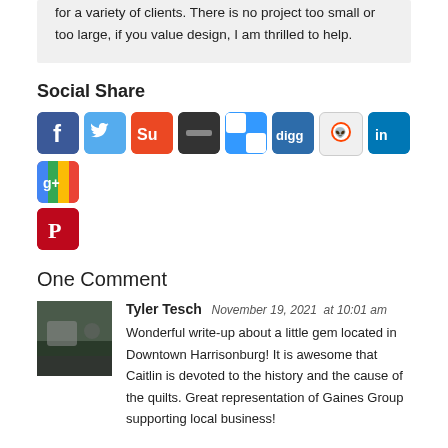for a variety of clients. There is no project too small or too large, if you value design, I am thrilled to help.
Social Share
[Figure (infographic): Row of social media share icons: Facebook (blue), Twitter (light blue), StumbleUpon (orange-red), Rdio (dark/black), Delicious (blue/white checkered), Digg (blue), Reddit (white/alien), LinkedIn (blue), Google+ (colorful), and Pinterest (red) below.]
One Comment
[Figure (photo): Small square avatar photo showing a person or scene outdoors.]
Tyler Tesch  November 19, 2021  at 10:01 am
Wonderful write-up about a little gem located in Downtown Harrisonburg! It is awesome that Caitlin is devoted to the history and the cause of the quilts. Great representation of Gaines Group supporting local business!